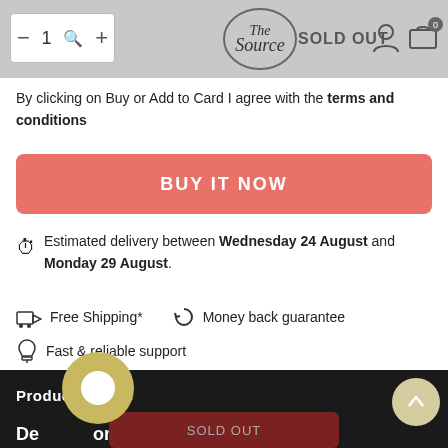1 — SOLD OUT — [logo: The Source] [icons: account, cart 0]
By clicking on Buy or Add to Card I agree with the terms and conditions
BUY IT NOW
Estimated delivery between Wednesday 24 August and Monday 29 August.
Free Shipping*
Money back guarantee
Fast & reliable support
Product Details
Description
SOLD OUT